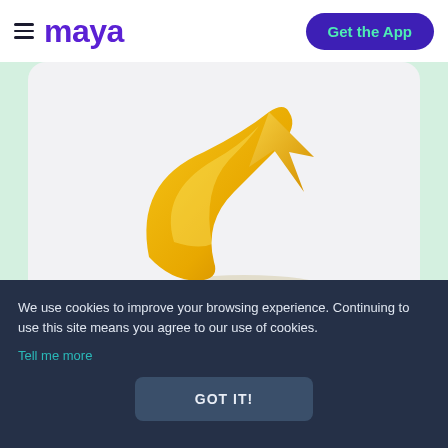maya  Get the App
[Figure (illustration): Yellow 3D arrow/swoosh logo graphic on a light grey rounded card background]
We use cookies to improve your browsing experience. Continuing to use this site means you agree to our use of cookies.
Tell me more
GOT IT!